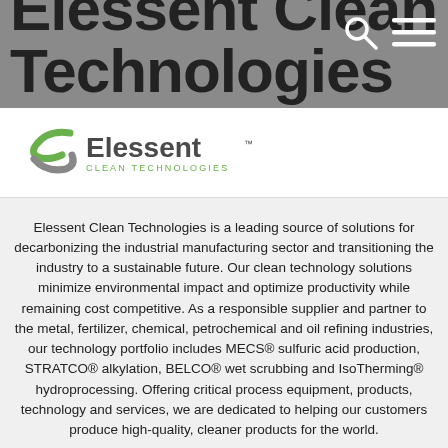Elessent Clean Technologies
[Figure (logo): Elessent Clean Technologies logo with stylized green and gray swoosh icon and company name]
Elessent Clean Technologies is a leading source of solutions for decarbonizing the industrial manufacturing sector and transitioning the industry to a sustainable future. Our clean technology solutions minimize environmental impact and optimize productivity while remaining cost competitive. As a responsible supplier and partner to the metal, fertilizer, chemical, petrochemical and oil refining industries, our technology portfolio includes MECS® sulfuric acid production, STRATCO® alkylation, BELCO® wet scrubbing and IsoTherming® hydroprocessing. Offering critical process equipment, products, technology and services, we are dedicated to helping our customers produce high-quality, cleaner products for the world.